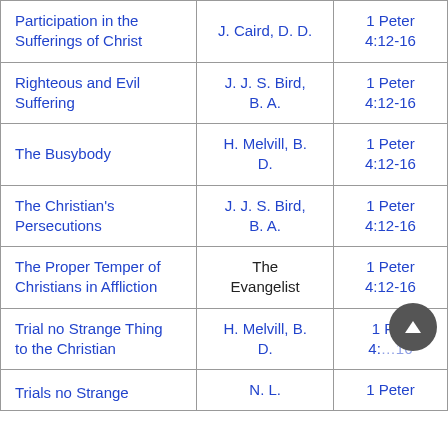|  |  |  |
| --- | --- | --- |
| Participation in the Sufferings of Christ | J. Caird, D. D. | 1 Peter 4:12-16 |
| Righteous and Evil Suffering | J. J. S. Bird, B. A. | 1 Peter 4:12-16 |
| The Busybody | H. Melvill, B. D. | 1 Peter 4:12-16 |
| The Christian's Persecutions | J. J. S. Bird, B. A. | 1 Peter 4:12-16 |
| The Proper Temper of Christians in Affliction | The Evangelist | 1 Peter 4:12-16 |
| Trial no Strange Thing to the Christian | H. Melvill, B. D. | 1 Peter 4:12-16 |
| Trials no Strange | N. L. | 1 Peter |